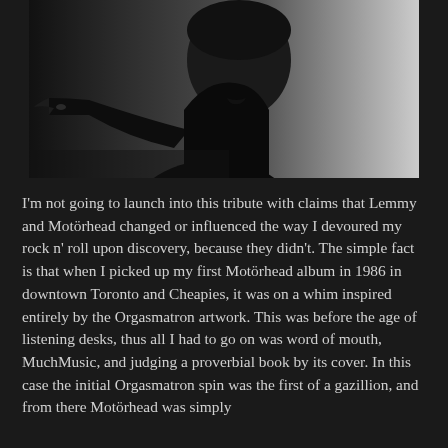[Figure (photo): Black and white photograph of a man with a mustache pointing his finger toward the camera, wearing a dark jacket, with a gradient background fading from dark on the left to light on the right.]
I'm not going to launch into this tribute with claims that Lemmy and Motörhead changed or influenced the way I devoured my rock n' roll upon discovery, because they didn't. The simple fact is that when I picked up my first Motörhead album in 1986 in downtown Toronto and Cheapies, it was on a whim inspired entirely by the Orgasmatron artwork. This was before the age of listening desks, thus all I had to go on was word of mouth, MuchMusic, and judging a proverbial book by its cover. In this case the initial Orgasmatron spin was the first of a gazillion, and from there Motörhead was simply